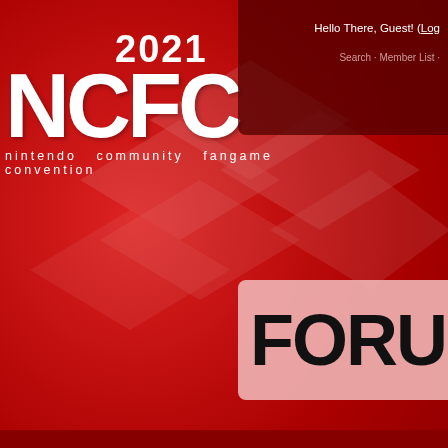[Figure (screenshot): NCFC 2021 Nintendo Community Fangame Convention logo on red background with decorative diamond shapes]
Hello There, Guest! (Log... ) Search · Member List ·
FORUM
NCFC Forums › NCFC › News › Archived News
NCFC 2014 Registrations are open!
Pages (2): 1  2  Next »
Thread Rating:
| NCFC 2014 Registrations are open! | Threaded Mo... |
| --- | --- |
KiddoCabbusses  Offline  NCFC 2014 Registrations are open!
Head Director